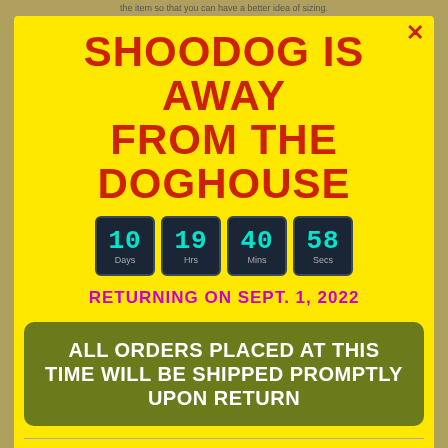the item so that you can have a better idea of sizing.
SHOODOG IS AWAY FROM THE DOGHOUSE
[Figure (infographic): Countdown timer showing 10 Days, 19 Hrs, 40 Mins, 58 Secs in dark tile blocks with teal numbers]
RETURNING ON SEPT. 1, 2022
ALL ORDERS PLACED AT THIS TIME WILL BE SHIPPED PROMPTLY UPON RETURN
Thank you for your patience and for shopping at ShooDog.Com